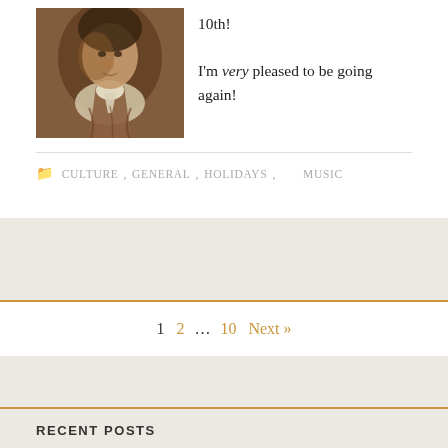[Figure (illustration): Portrait painting of a man in historical attire, brownish tones, classical painting style]
10th! I'm very pleased to be going again!
CULTURE   GENERAL   HOLIDAYS   MUSIC
1  2  ...  10  Next »
RECENT POSTS